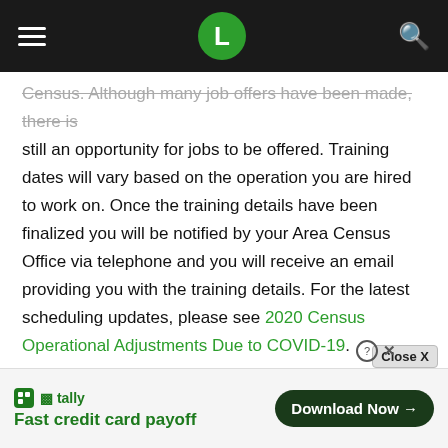L
Census. Although many job offers have been made, there is still an opportunity for jobs to be offered. Training dates will vary based on the operation you are hired to work on. Once the training details have been finalized you will be notified by your Area Census Office via telephone and you will receive an email providing you with the training details. For the latest scheduling updates, please see 2020 Census Operational Adjustments Due to COVID-19.
Census Field Supervisors
Census field supervisors will supervise census takers, monitor their progress and performance, and ensure that the quality of work is maintained and that work is completed on time. C... ces issued.